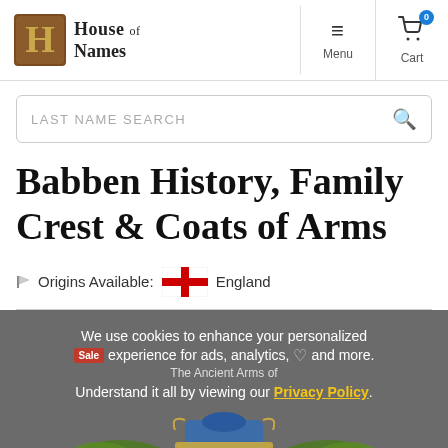House of Names — Menu | Cart
LAST NAME SEARCH
Babben History, Family Crest & Coats of Arms
Origins Available: England
We use cookies to enhance your personalized experience for ads, analytics, and more. Understand it all by viewing our Privacy Policy.
[Figure (illustration): Partial view of a coat of arms illustration with the text 'The Ancient Arms of' visible on a banner, with decorative elements in blue and gold.]